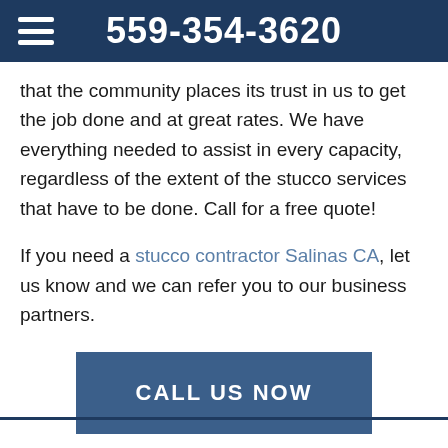559-354-3620
that the community places its trust in us to get the job done and at great rates. We have everything needed to assist in every capacity, regardless of the extent of the stucco services that have to be done. Call for a free quote!
If you need a stucco contractor Salinas CA, let us know and we can refer you to our business partners.
CALL US NOW